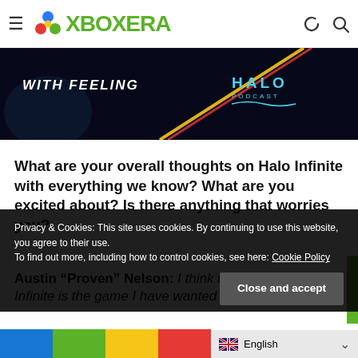XboxEra
[Figure (screenshot): Dark hero banner with 'WITH FEELING' text on left, diagonal colored lines (yellow/red), and 'HALO PODCAST' text on right in blue, over dark background.]
What are your overall thoughts on Halo Infinite with everything we know? What are you excited about? Is there anything that worries you?
Austin “Proven” Nelson: I think that overall Halo Infinite is the game I have wanted 343 to make for a
Privacy & Cookies: This site uses cookies. By continuing to use this website, you agree to their use.
To find out more, including how to control cookies, see here: Cookie Policy
Close and accept
English